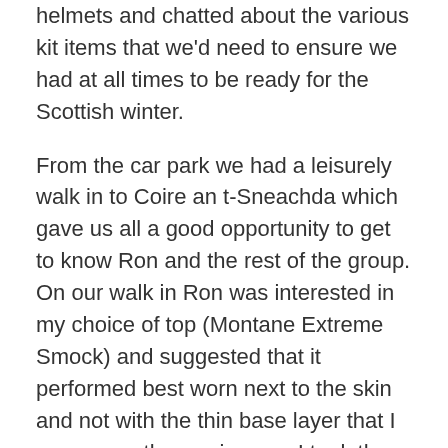helmets and chatted about the various kit items that we'd need to ensure we had at all times to be ready for the Scottish winter.
From the car park we had a leisurely walk in to Coire an t-Sneachda which gave us all a good opportunity to get to know Ron and the rest of the group. On our walk in Ron was interested in my choice of top (Montane Extreme Smock) and suggested that it performed best worn next to the skin and not with the thin base layer that I was currently wearing - so I took the leap of faith and removed this, which was by far the best decision I made that week (more about that in the reviews later).
Our first patch of snow gave us the ideal chance to practice some ice axe arrests and to get used to walking on snow with our winter boots on (my choice of boots for this trip, on recommendation by Pegglers, were La Sportiva Nepal Extreme's) and learning the different moves required to stop a